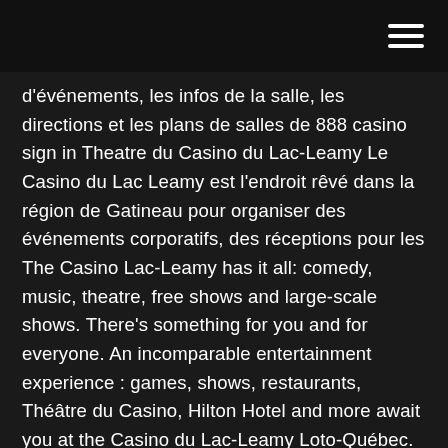[hamburger menu icon]
d'événements, les infos de la salle, les directions et les plans de salles de 888 casino sign in Theatre du Casino du Lac-Leamy Le Casino du Lac Leamy est l'endroit rêvé dans la région de Gatineau pour organiser des événements corporatifs, des réceptions pour les The Casino Lac-Leamy has it all: comedy, music, theatre, free shows and large-scale shows. There's something for you and for everyone. An incomparable entertainment experience : games, shows, restaurants, Théâtre du Casino, Hilton Hotel and more await you at the Casino du Lac-Leamy Loto-Québec. Theatre du Casino du Lac-Leamy tickets and upcoming 2021 event schedule. Find details for Theatre du Casino du Lac-Leamy in GATINEAU, QC, including venue info and seating charts. Casino du Lac-Leamy will be hosting a handful of events